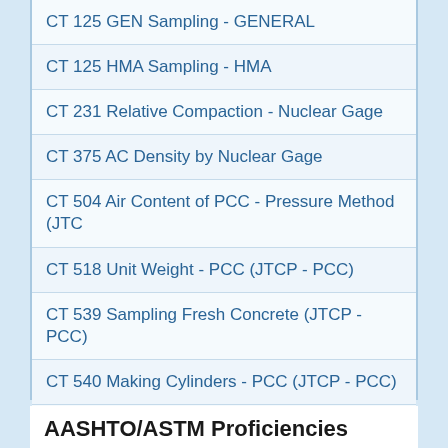CT 125 GEN Sampling - GENERAL
CT 125 HMA Sampling - HMA
CT 231 Relative Compaction - Nuclear Gage
CT 375 AC Density by Nuclear Gage
CT 504 Air Content of PCC - Pressure Method (JTC
CT 518 Unit Weight - PCC (JTCP - PCC)
CT 539 Sampling Fresh Concrete (JTCP - PCC)
CT 540 Making Cylinders - PCC (JTCP - PCC)
CT 543 Air Content of PCC - Volumetric Method (JT
CT 556 Slump - PCC (JTCP - PCC)
CT 557 Temperature - PCC (JTCP - PCC)
AASHTO/ASTM Proficiencies